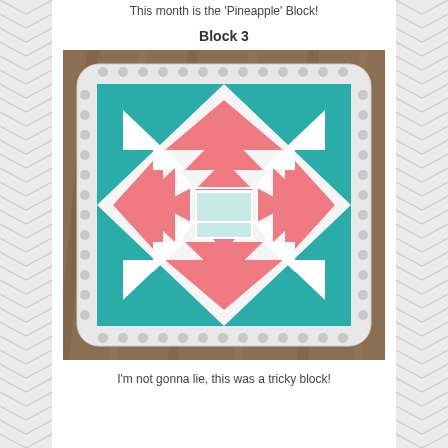This month is the 'Pineapple' Block!
Block 3
[Figure (photo): Photo of a pineapple quilt block in coral/pink, white, and teal colors, displayed on a decorative white beaded plate/tray, set on a wooden surface.]
I'm not gonna lie, this was a tricky block!